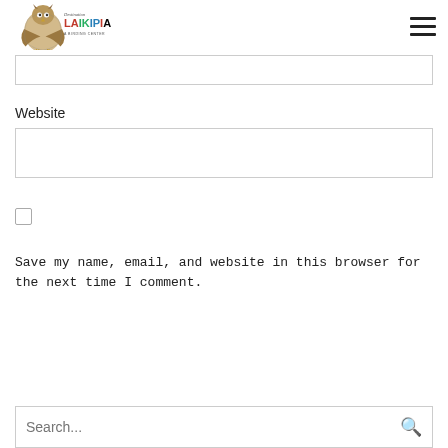[Figure (logo): Destination Laikipia logo with text 'LAIKIPIA' in colorful letters and an owl/bird figure]
Email
Website
Save my name, email, and website in this browser for the next time I comment.
POST COMMENT
Search...